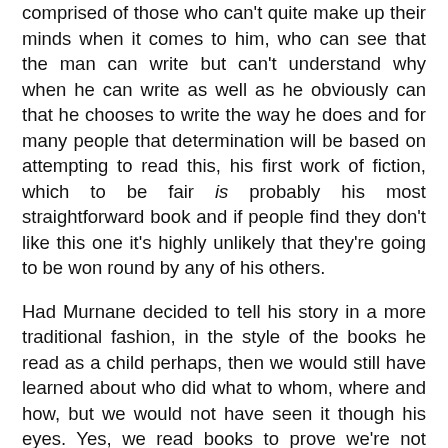comprised of those who can't quite make up their minds when it comes to him, who can see that the man can write but can't understand why when he can write as well as he obviously can that he chooses to write the way he does and for many people that determination will be based on attempting to read this, his first work of fiction, which to be fair is probably his most straightforward book and if people find they don't like this one it's highly unlikely that they're going to be won round by any of his others.
Had Murnane decided to tell his story in a more traditional fashion, in the style of the books he read as a child perhaps, then we would still have learned about who did what to whom, where and how, but we would not have seen it though his eyes. Yes, we read books to prove we're not alone (C S Lewis), but we also read to see the world through another person's eyes and Gerald Murnane has a unique way of seeing the world. Many of the things he says are confusing to me as a fellow writer though, things like “I believe I am barely capable of abstract thought. I can only think by considering images,”[2], “I [have] never created any character or imagined any plot,”[3], “Writing never explains anything.”[4] or the fact that he refuses to refer to his books